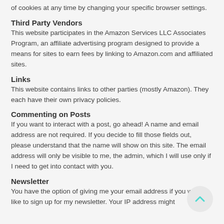of cookies at any time by changing your specific browser settings.
Third Party Vendors
This website participates in the Amazon Services LLC Associates Program, an affiliate advertising program designed to provide a means for sites to earn fees by linking to Amazon.com and affiliated sites.
Links
This website contains links to other parties (mostly Amazon). They each have their own privacy policies.
Commenting on Posts
If you want to interact with a post, go ahead! A name and email address are not required. If you decide to fill those fields out, please understand that the name will show on this site. The email address will only be visible to me, the admin, which I will use only if I need to get into contact with you.
Newsletter
You have the option of giving me your email address if you would like to sign up for my newsletter. Your IP address might